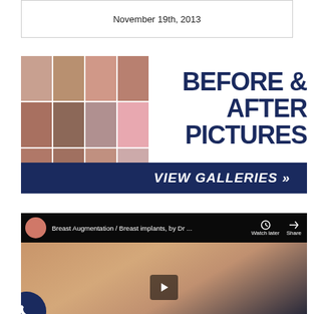November 19th, 2013
[Figure (illustration): Before & After Pictures banner with grid of medical/cosmetic procedure photos and 'VIEW GALLERIES >>' button on dark navy background]
[Figure (screenshot): YouTube video screenshot titled 'Breast Augmentation / Breast implants, by Dr ...' showing a 3D rendering]